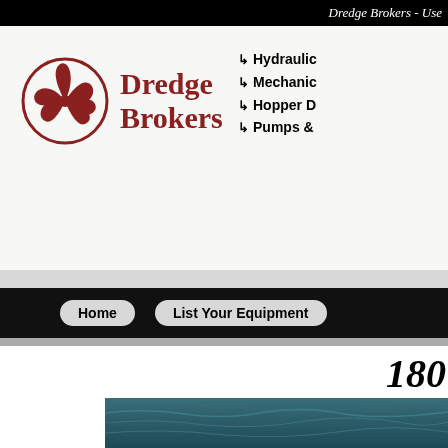Dredge Brokers - Use
[Figure (logo): Dredge Brokers logo with red spinning blade icon and bold red text 'Dredge Brokers']
↳ Hydraulic
↳ Mechanic
↳ Hopper D
↳ Pumps &
Home
List Your Equipment
180
[Figure (photo): Water/ocean surface photograph strip]